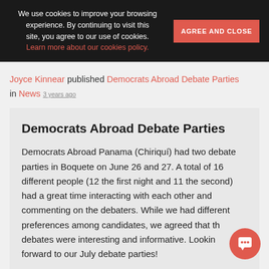We use cookies to improve your browsing experience. By continuing to visit this site, you agree to our use of cookies. Learn more about our cookies policy. AGREE AND CLOSE
Joyce Kinnear published Democrats Abroad Debate Parties in News 3 years ago
Democrats Abroad Debate Parties
Democrats Abroad Panama (Chiriquí) had two debate parties in Boquete on June 26 and 27. A total of 16 different people (12 the first night and 11 the second) had a great time interacting with each other and commenting on the debaters. While we had different preferences among candidates, we agreed that the debates were interesting and informative. Looking forward to our July debate parties!